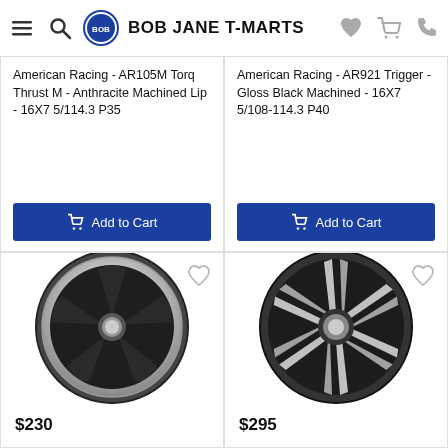BOB JANE T-MARTS
American Racing - AR105M Torq Thrust M - Anthracite Machined Lip - 16X7 5/114.3 P35
Add to Cart
American Racing - AR921 Trigger - Gloss Black Machined - 16X7 5/108-114.3 P40
Add to Cart
[Figure (photo): Black alloy wheel with chrome lip, 5-spoke design (American Racing AR105M Torq Thrust M)]
$230
[Figure (photo): Black and machined alloy wheel, multi-spoke design (American Racing AR921 Trigger)]
$295